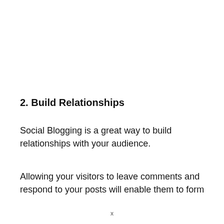2. Build Relationships
Social Blogging is a great way to build relationships with your audience.
Allowing your visitors to leave comments and respond to your posts will enable them to form
x